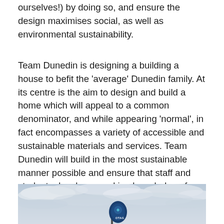ourselves!) by doing so, and ensure the design maximises social, as well as environmental sustainability.
Team Dunedin is designing a building a house to befit the 'average' Dunedin family. At its centre is the aim to design and build a home which will appeal to a common denominator, and while appearing 'normal', in fact encompasses a variety of accessible and sustainable materials and services. Team Dunedin will build in the most sustainable manner possible and ensure that staff and students develop a working knowledge of sustainable building capabilities.
[Figure (photo): Photograph of an overcast sky with clouds, and a blue Otago University branded banner/flag visible at the bottom centre of the image.]